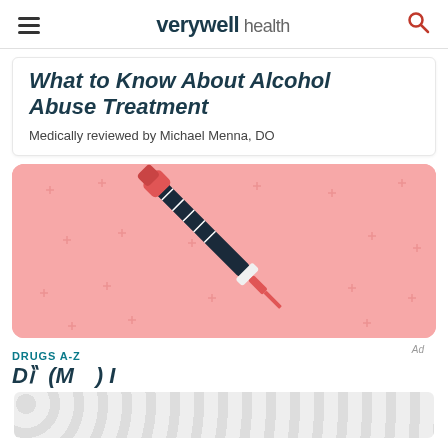verywell health
What to Know About Alcohol Abuse Treatment
Medically reviewed by Michael Menna, DO
[Figure (illustration): Illustration of a medical syringe/injection on a pink background with small cross/plus symbols pattern]
DRUGS A-Z
Depot (Methyltestosterone) Injection